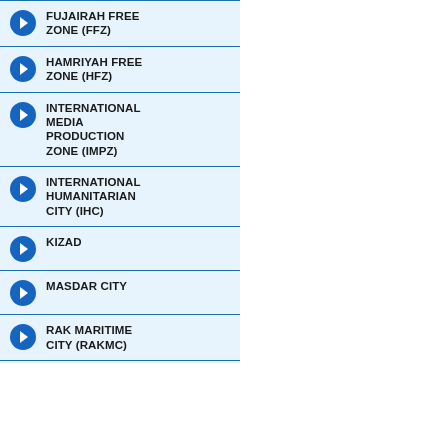FUJAIRAH FREE ZONE (FFZ)
HAMRIYAH FREE ZONE (HFZ)
INTERNATIONAL MEDIA PRODUCTION ZONE (IMPZ)
INTERNATIONAL HUMANITARIAN CITY (IHC)
KIZAD
MASDAR CITY
RAK MARITIME CITY (RAKMC)